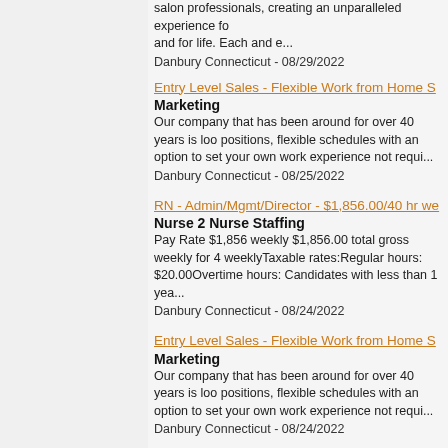salon professionals, creating an unparalleled experience fo and for life. Each and e...
Danbury Connecticut - 08/29/2022
Entry Level Sales - Flexible Work from Home S
Marketing
Our company that has been around for over 40 years is loo positions, flexible schedules with an option to set your own work experience not requi...
Danbury Connecticut - 08/25/2022
RN - Admin/Mgmt/Director - $1,856.00/40 hr we
Nurse 2 Nurse Staffing
Pay Rate $1,856 weekly $1,856.00 total gross weekly for 4 weeklyTaxable rates:Regular hours: $20.00Overtime hours: Candidates with less than 1 yea...
Danbury Connecticut - 08/24/2022
Entry Level Sales - Flexible Work from Home S
Marketing
Our company that has been around for over 40 years is loo positions, flexible schedules with an option to set your own work experience not requi...
Danbury Connecticut - 08/24/2022
Salon Receptionist - J. C. Penney
J. C. Penney - Danbury Fair Mall 7 Backus Ave [Administra a Salon Receptionist at J. C. Penney, you'll: Offer additiona product benefits to become s...
Danbury Connecticut - 08/24/2022